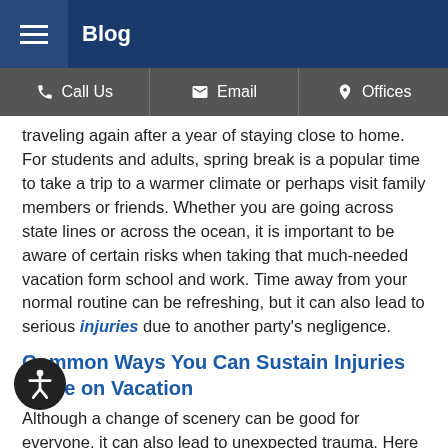Blog
Call Us   Email   Offices
traveling again after a year of staying close to home. For students and adults, spring break is a popular time to take a trip to a warmer climate or perhaps visit family members or friends. Whether you are going across state lines or across the ocean, it is important to be aware of certain risks when taking that much-needed vacation form school and work. Time away from your normal routine can be refreshing, but it can also lead to serious injuries due to another party's negligence.
Common Ways You Can Sustain Injuries While on Vacation
Although a change of scenery can be good for everyone, it can also lead to unexpected trauma. Here are a few types of incidents that can cause a traveler to be harmed or injured: